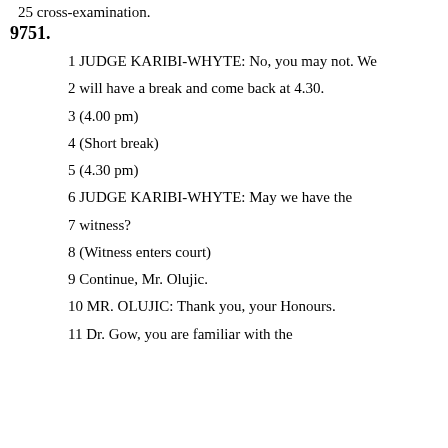25 cross-examination.
9751.
1 JUDGE KARIBI-WHYTE: No, you may not. We
2 will have a break and come back at 4.30.
3 (4.00 pm)
4 (Short break)
5 (4.30 pm)
6 JUDGE KARIBI-WHYTE: May we have the
7 witness?
8 (Witness enters court)
9 Continue, Mr. Olujic.
10 MR. OLUJIC: Thank you, your Honours.
11 Dr. Gow, you are familiar with the